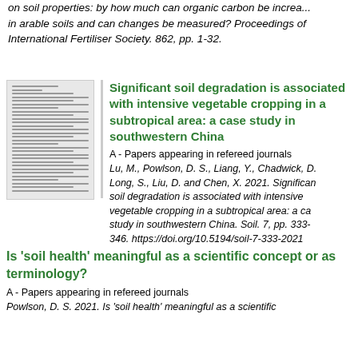on soil properties: by how much can organic carbon be increased in arable soils and can changes be measured? Proceedings of the International Fertiliser Society. 862, pp. 1-32.
[Figure (photo): Thumbnail image of a scientific paper document page]
Significant soil degradation is associated with intensive vegetable cropping in a subtropical area: a case study in southwestern China
A - Papers appearing in refereed journals
Lu, M., Powlson, D. S., Liang, Y., Chadwick, D., Long, S., Liu, D. and Chen, X. 2021. Significant soil degradation is associated with intensive vegetable cropping in a subtropical area: a case study in southwestern China. Soil. 7, pp. 333-346. https://doi.org/10.5194/soil-7-333-2021
Is 'soil health' meaningful as a scientific concept or as terminology?
A - Papers appearing in refereed journals
Powlson, D. S. 2021. Is 'soil health' meaningful as a scientific